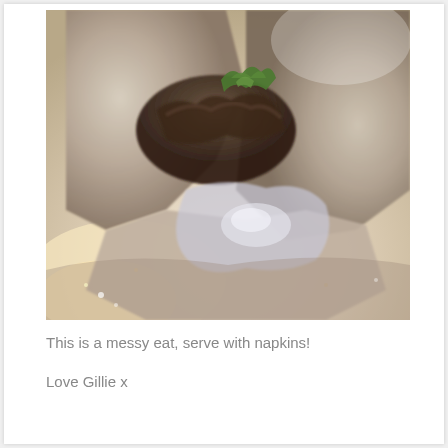[Figure (photo): Close-up photograph of a messy pita or flatbread sandwich/wrap filled with grilled mushrooms or meat and green herbs/salad, sitting on a reflective surface. The bread is folded and the filling is spilling out. The image is slightly blurred and has warm tones.]
This is a messy eat, serve with napkins!
Love Gillie x